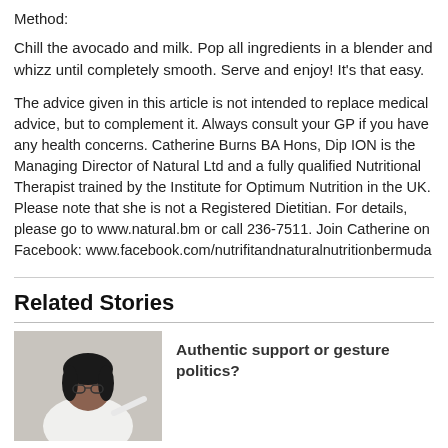Method:
Chill the avocado and milk. Pop all ingredients in a blender and whizz until completely smooth. Serve and enjoy! It's that easy.
The advice given in this article is not intended to replace medical advice, but to complement it. Always consult your GP if you have any health concerns. Catherine Burns BA Hons, Dip ION is the Managing Director of Natural Ltd and a fully qualified Nutritional Therapist trained by the Institute for Optimum Nutrition in the UK. Please note that she is not a Registered Dietitian. For details, please go to www.natural.bm or call 236-7511. Join Catherine on Facebook: www.facebook.com/nutrifitandnaturalnutritionbermuda
Related Stories
[Figure (photo): Thumbnail photo of a woman with glasses wearing white, pointing at something]
Authentic support or gesture politics?
[Figure (photo): Thumbnail photo with green background showing a partial face]
Bermuda on the rise